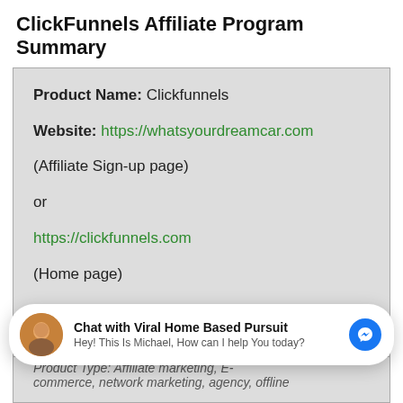ClickFunnels Affiliate Program Summary
Product Name: Clickfunnels
Website: https://whatsyourdreamcar.com
(Affiliate Sign-up page)
or
https://clickfunnels.com
(Home page)
Chat with Viral Home Based Pursuit
Hey! This Is Michael, How can I help You today?
Product Type: Affiliate marketing, E-commerce, network marketing, agency, offline